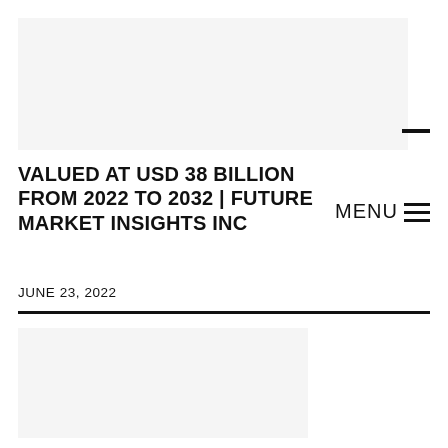[Figure (other): Light gray rectangular banner/header image area at the top of the page]
VALUED AT USD 38 BILLION FROM 2022 TO 2032 | FUTURE MARKET INSIGHTS INC
JUNE 23, 2022
[Figure (other): Light gray rectangular image area at the bottom left of the page]